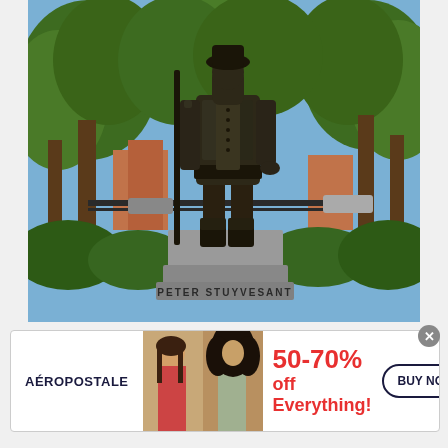[Figure (photo): Photograph of the Peter Stuyvesant bronze statue in a park setting with green trees and a stone pedestal base inscribed 'PETER STUYVESANT'. The statue shows a figure in historical armor/clothing holding a staff.]
[Figure (photo): Aeropostale advertisement banner featuring two female models, text '50-70% off Everything!' in red, brand name 'AÉROPOSTALE' in dark blue on left, and a 'BUY NOW' button on the right.]